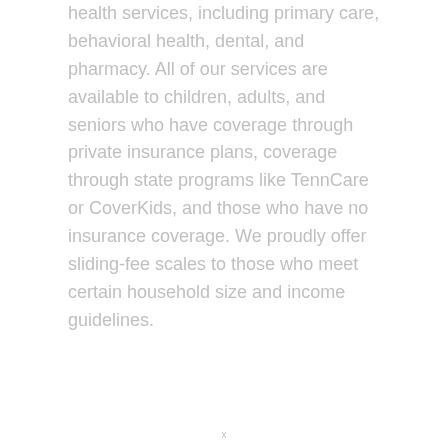health services, including primary care, behavioral health, dental, and pharmacy. All of our services are available to children, adults, and seniors who have coverage through private insurance plans, coverage through state programs like TennCare or CoverKids, and those who have no insurance coverage. We proudly offer sliding-fee scales to those who meet certain household size and income guidelines.
x